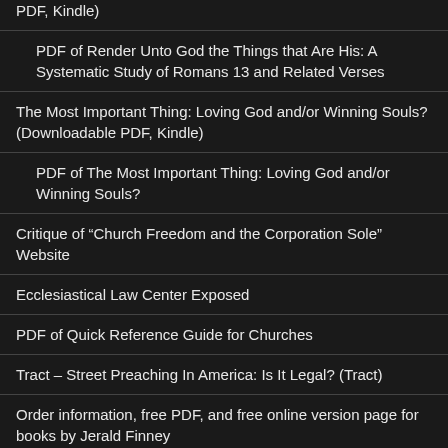Romans 13 and Related Verses (Online Version, Downloadable PDF, Kindle)
PDF of Render Unto God the Things that Are His: A Systematic Study of Romans 13 and Related Verses
The Most Important Thing: Loving God and/or Winning Souls? (Downloadable PDF, Kindle)
PDF of The Most Important Thing: Loving God and/or Winning Souls?
Critique of “Church Freedom and the Corporation Sole” Website
Ecclesiastical Law Center Exposed
PDF of Quick Reference Guide for Churches
Tract – Street Preaching In America: Is It Legal? (Tract)
Order information, free PDF, and free online version page for books by Jerald Finney
Review of books by Jerald Finney
Book Reviews